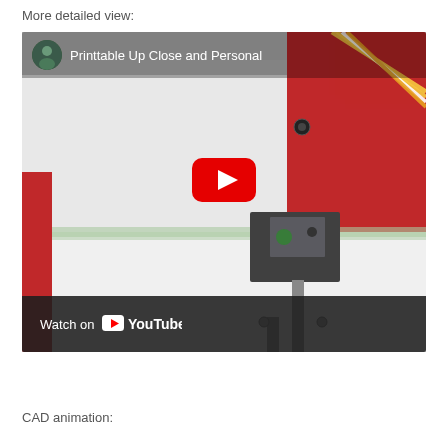More detailed view:
[Figure (screenshot): YouTube video thumbnail showing a 3D printer print table up close, with a red metal component and wiring visible. Video title reads 'Printtable Up Close and Personal'. A YouTube play button is overlaid in the center. A 'Watch on YouTube' bar appears at the bottom of the thumbnail.]
CAD animation: